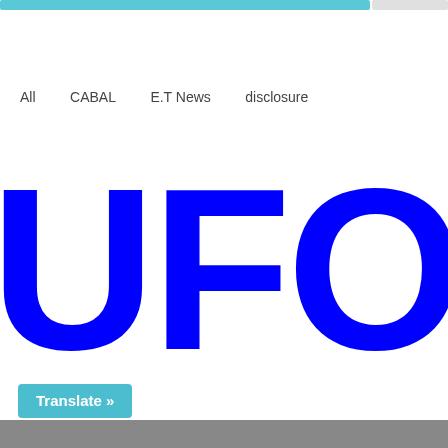All   CABAL   E.T News   disclosure
UFO
Translate »